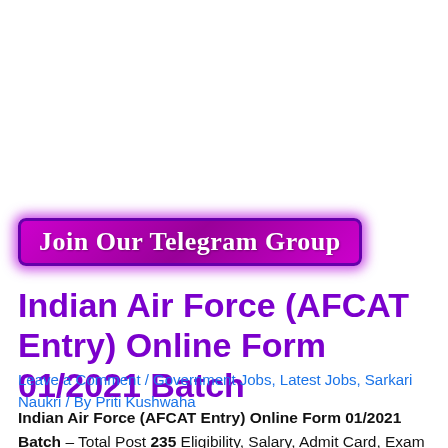[Figure (infographic): Purple/magenta gradient button banner with white text reading 'Join Our Telegram Group' in decorative serif font, with glowing border effect]
Indian Air Force (AFCAT Entry) Online Form 01/2021 Batch
Leave a Comment / Government Jobs, Latest Jobs, Sarkari Naukri / By Priti Kushwaha
Indian Air Force (AFCAT Entry) Online Form 01/2021 Batch – Total Post 235 Eligibility, Salary, Admit Card, Exam Date, The Recruitment Post of Has Air Force Common Admission Test , has published to appear for the Recruitment Post of